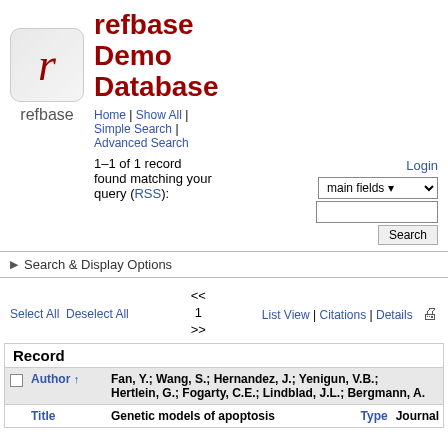refbase Demo Database
Home | Show All | Simple Search | Advanced Search
Login
1–1 of 1 record found matching your query (RSS):
Search & Display Options
<< 1 >>
Select All  Deselect All  List View | Citations | Details
| Record |
| --- |
| Author ↑ | Fan, Y.; Wang, S.; Hernandez, J.; Yenigun, V.B.; Hertlein, G.; Fogarty, C.E.; Lindblad, J.L.; Bergmann, A. | Type | Journal |
| Title | Genetic models of apoptosis | Type | Journal |